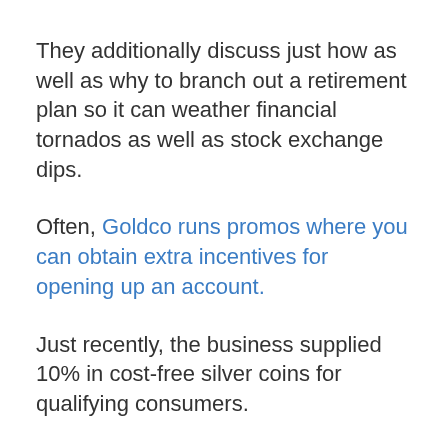They additionally discuss just how as well as why to branch out a retirement plan so it can weather financial tornados as well as stock exchange dips.
Often, Goldco runs promos where you can obtain extra incentives for opening up an account.
Just recently, the business supplied 10% in cost-free silver coins for qualifying consumers.
The firm runs these promos typically, so there’s an excellent possibility you can get a little additional if your timing is.